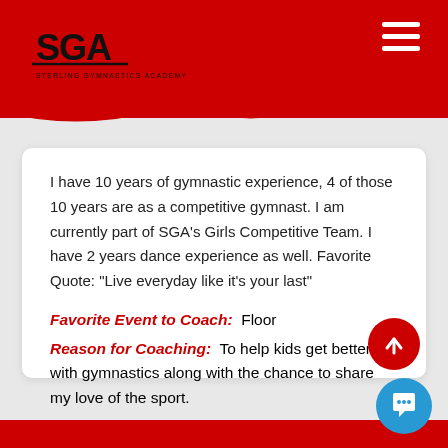[Figure (logo): SGA Sterling Gymnastics Academy logo in black and red with gymnast figure on top]
I have 10 years of gymnastic experience, 4 of those 10 years are as a competitive gymnast. I am currently part of SGA's Girls Competitive Team. I have 2 years dance experience as well. Favorite Quote: "Live everyday like it's your last"
Favorite Event to Coach: Floor
Reason for Coaching: To help kids get better with gymnastics along with the chance to share my love of the sport.